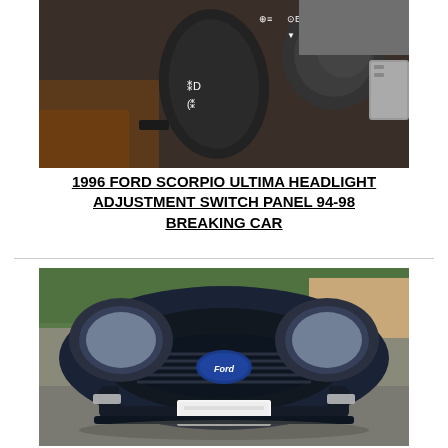[Figure (photo): Close-up photo of a car headlight adjustment switch panel/stalk with symbols on it, showing a dark rotary switch and stalk against a car interior background.]
1996 FORD SCORPIO ULTIMA HEADLIGHT ADJUSTMENT SWITCH PANEL 94-98 BREAKING CAR
[Figure (photo): Front view of a dark blue Ford Scorpio car showing the front grille, Ford oval badge, headlights, and front bumper with number plate area blurred out.]